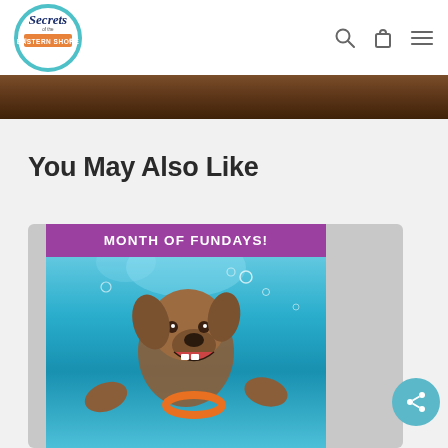Secrets of the Eastern Shore — navigation header with logo, search, cart, and menu icons
[Figure (photo): Dark brown/rust-colored hero banner image at top of page]
You May Also Like
[Figure (photo): Promotional card image showing a dog swimming underwater with an orange ring toy, with a purple 'MONTH OF FUNDAYS!' banner at top]
[Figure (other): Circular teal share/social button with share icon, bottom right of card]